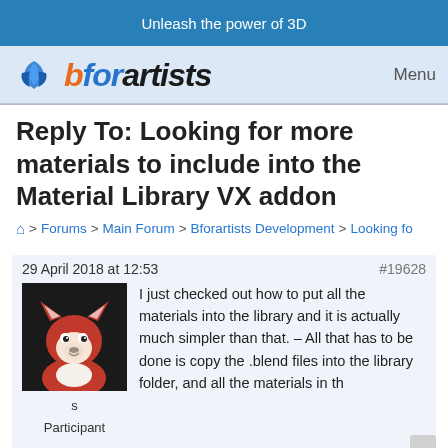Unleash the power of 3D
[Figure (logo): Bforartists logo with 3D icon and stylized text 'bforartists', with Menu button on right]
Reply To: Looking for more materials to include into the Material Library VX addon
Home > Forums > Main Forum > Bforartists Development > Looking fo
29 April 2018 at 12:53
#19628
[Figure (photo): User avatar showing a red fox plush/character face on dark background]
s
Participant

Posts 295
I just checked out how to put all the materials into the library and it is actually much simpler than that. – All that has to be done is copy the .blend files into the library folder, and all the materials in th